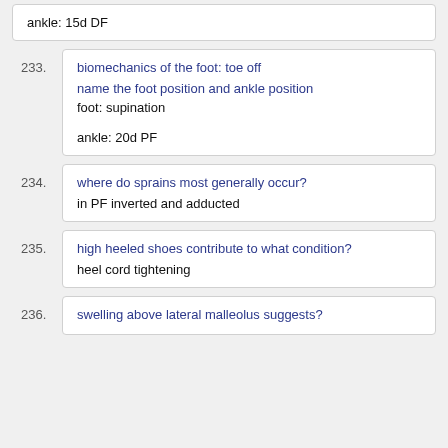ankle: 15d DF
233. biomechanics of the foot: toe off | name the foot position and ankle position | foot: supination | ankle: 20d PF
234. where do sprains most generally occur? | in PF inverted and adducted
235. high heeled shoes contribute to what condition? | heel cord tightening
236. swelling above lateral malleolus suggests?